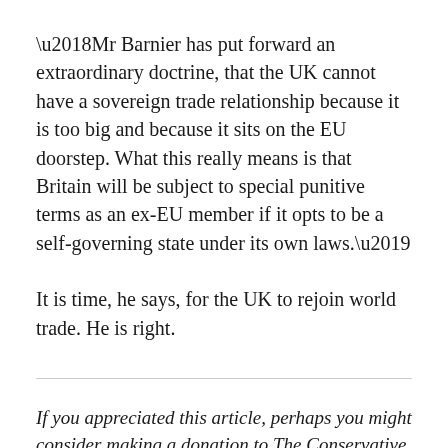‘Mr Barnier has put forward an extraordinary doctrine, that the UK cannot have a sovereign trade relationship because it is too big and because it sits on the EU doorstep. What this really means is that Britain will be subject to special punitive terms as an ex-EU member if it opts to be a self-governing state under its own laws.’
It is time, he says, for the UK to rejoin world trade. He is right.
If you appreciated this article, perhaps you might consider making a donation to The Conservative Woman. Unlike most other websites, we receive no